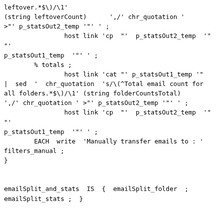leftover.*$\)/\1'
(string leftoverCount)      ',/' chr_quotation '
>"' p_statsOut2_temp '"' ' ;
                host link 'cp  "'  p_statsOut2_temp  '"
"'
p_statsOut1_temp  '"' ' ;
        % totals ;
                host link 'cat "' p_statsOut1_temp '"
|  sed  '  chr_quotation  's/\(^Total email count for
all folders.*$\)/\1' (string folderCountsTotal)
',/' chr_quotation ' >"' p_statsOut2_temp '"' ' ;
                host link 'cp  "'  p_statsOut2_temp  '"
"'
p_statsOut1_temp  '"' ' ;
        EACH  write  'Manually transfer emails to : '
filters_manual ;
}


emailSplit_and_stats  IS  {  emailSplit_folder  ;
emailSplit_stats ;  }


#IF flag_break = 1 THEN Break ; ENDIF ;
# loaddefs link   d_QNial_mine  'email - split
Thunderbird email folder.ndf'

#***********************************************
# emailSplit_statsManual  IS
- post folderCountsALL@i (but NOT keyCountsALL@i) in